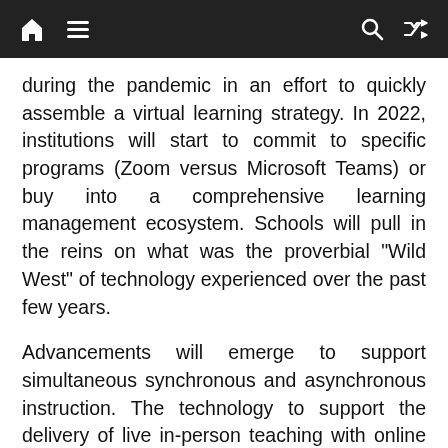[Navigation bar with home, menu, search, and shuffle icons]
during the pandemic in an effort to quickly assemble a virtual learning strategy. In 2022, institutions will start to commit to specific programs (Zoom versus Microsoft Teams) or buy into a comprehensive learning management ecosystem. Schools will pull in the reins on what was the proverbial “Wild West” of technology experienced over the past few years.
Advancements will emerge to support simultaneous synchronous and asynchronous instruction. The technology to support the delivery of live in-person teaching with online instruction remains clunky (sound, small groups, camera tracking, whiteboards, etc.) Someone will see the opportunity in filling the need to improve